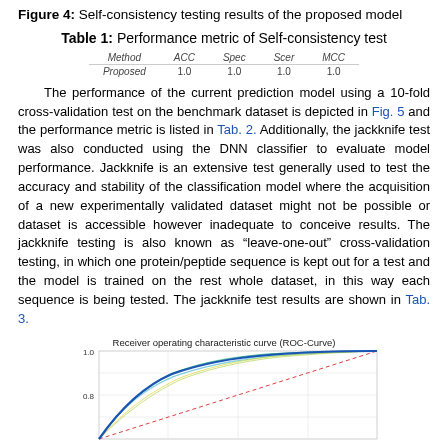Figure 4: Self-consistency testing results of the proposed model
Table 1: Performance metric of Self-consistency test
| Method | ACC | Spec | Scer | MCC |
| --- | --- | --- | --- | --- |
| Proposed | 1.0 | 1.0 | 1.0 | 1.0 |
The performance of the current prediction model using a 10-fold cross-validation test on the benchmark dataset is depicted in Fig. 5 and the performance metric is listed in Tab. 2. Additionally, the jackknife test was also conducted using the DNN classifier to evaluate model performance. Jackknife is an extensive test generally used to test the accuracy and stability of the classification model where the acquisition of a new experimentally validated dataset might not be possible or dataset is accessible however inadequate to conceive results. The jackknife testing is also known as “leave-one-out” cross-validation testing, in which one protein/peptide sequence is kept out for a test and the model is trained on the rest whole dataset, in this way each sequence is being tested. The jackknife test results are shown in Tab. 3.
[Figure (continuous-plot): Receiver operating characteristic curve (ROC-Curve) showing multiple ROC curves (10-fold cross-validation folds in thin colored lines and a mean curve in bold blue), with a dashed red diagonal reference line. X-axis: False Positive Rate, Y-axis: True Positive Rate (AUC). Y-axis shows 1.0 and 0.8 labels visible.]